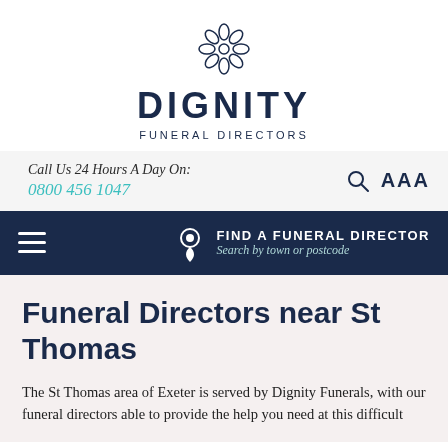[Figure (logo): Dignity Funeral Directors logo with decorative flower/snowflake icon above the text DIGNITY FUNERAL DIRECTORS]
Call Us 24 Hours A Day On:
0800 456 1047
FIND A FUNERAL DIRECTOR
Search by town or postcode
Funeral Directors near St Thomas
The St Thomas area of Exeter is served by Dignity Funerals, with our funeral directors able to provide the help you need at this difficult